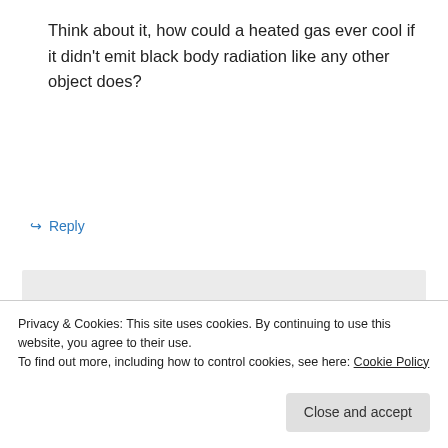Think about it, how could a heated gas ever cool if it didn't emit black body radiation like any other object does?
↳ Reply
suricat on June 27, 2011 at 2:31 am
“Think about it, how could a heated gas ever cool if it didn’t emit black body radiation like any other object does?”
Privacy & Cookies: This site uses cookies. By continuing to use this website, you agree to their use.
To find out more, including how to control cookies, see here: Cookie Policy